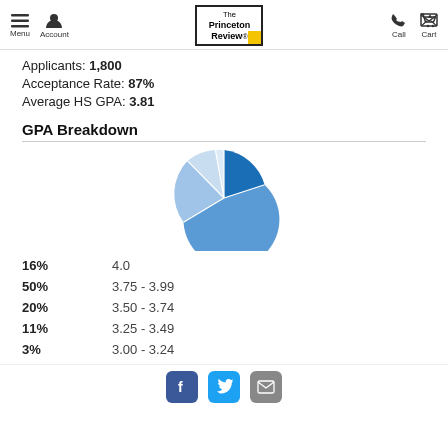Menu | Account | The Princeton Review | Call | Cart
Applicants: 1,800
Acceptance Rate: 87%
Average HS GPA: 3.81
GPA Breakdown
[Figure (pie-chart): GPA Breakdown]
16%   4.0
50%   3.75 - 3.99
20%   3.50 - 3.74
11%   3.25 - 3.49
3%   3.00 - 3.24
Facebook | Twitter | Email